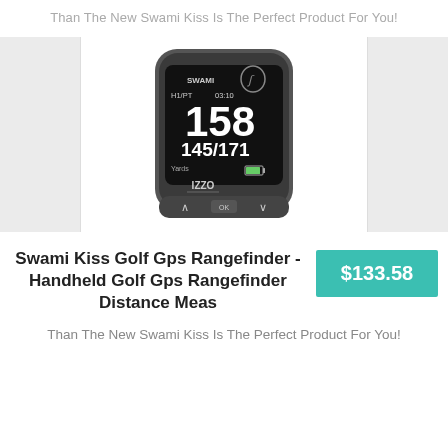Than The New Swami Kiss Is The Perfect Product For You!
[Figure (photo): Swami Kiss GPS rangefinder device showing display with 158, 145/171 yardage readings, IZZO branding, dark gray color with three buttons at bottom]
Swami Kiss Golf Gps Rangefinder - Handheld Golf Gps Rangefinder Distance Meas
$133.58
Than The New Swami Kiss Is The Perfect Product For You!